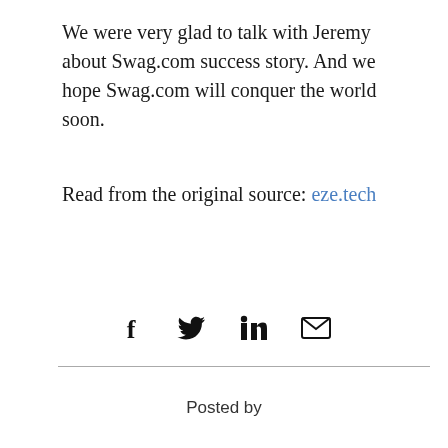We were very glad to talk with Jeremy about Swag.com success story. And we hope Swag.com will conquer the world soon.
Read from the original source: eze.tech
[Figure (infographic): Social sharing icons: Facebook (f), Twitter bird, LinkedIn (in), Email envelope]
Posted by